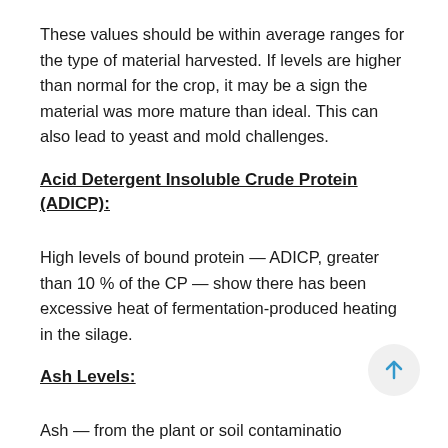These values should be within average ranges for the type of material harvested. If levels are higher than normal for the crop, it may be a sign the material was more mature than ideal. This can also lead to yeast and mold challenges.
Acid Detergent Insoluble Crude Protein (ADICP):
High levels of bound protein — ADICP, greater than 10 % of the CP — show there has been excessive heat of fermentation-produced heating in the silage.
Ash Levels:
Ash — from the plant or soil contamination levels can be determined after harvest with